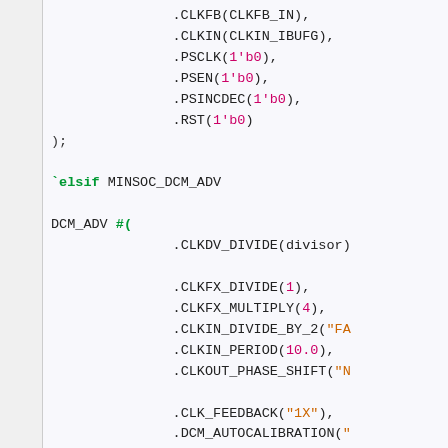[Figure (screenshot): Verilog/HDL source code snippet showing DCM (Digital Clock Manager) instantiation parameters including CLKFB, CLKIN, PSCLK, PSEN, PSINCDEC, RST, followed by a `elsif MINSOC_DCM_ADV conditional block with DCM_ADV module instantiation showing parameters CLKDV_DIVIDE, CLKFX_DIVIDE, CLKFX_MULTIPLY, CLKIN_DIVIDE_BY_2, CLKIN_PERIOD, CLKOUT_PHASE_SHIFT, CLK_FEEDBACK, DCM_AUTOCALIBRATION, DCM_PERFORMANCE_MODE, DESKEW_ADJUST, DFS_FREQUENCY_MODE, DLL_FREQUENCY_MODE]